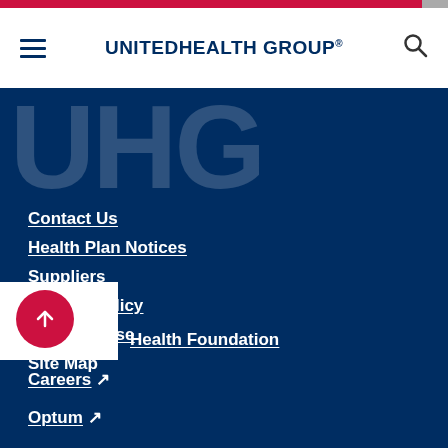UnitedHealth Group
UHG
Contact Us
Health Plan Notices
Suppliers
Privacy Policy
Terms of Use
Site Map
United Health Foundation
Careers ↗
Optum ↗